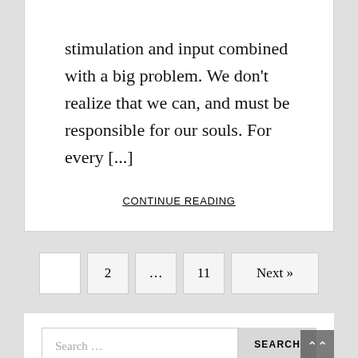stimulation and input combined with a big problem. We don't realize that we can, and must be responsible for our souls. For every [...]
CONTINUE READING
1 (current page)
2
...
11
Next »
Search …
SEARCH